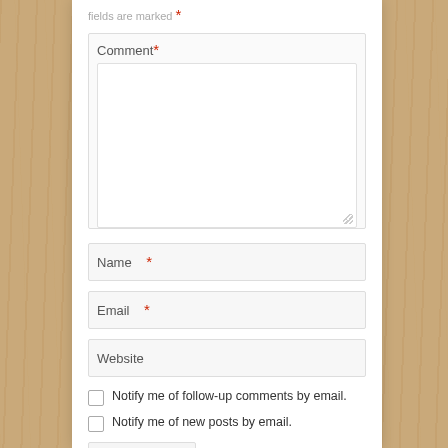fields are marked *
Comment *
Name *
Email *
Website
Notify me of follow-up comments by email.
Notify me of new posts by email.
Post Comment